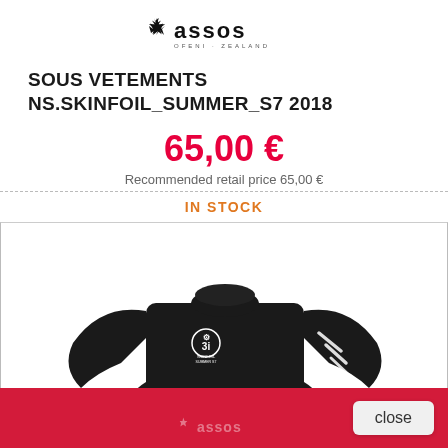[Figure (logo): ASSOS brand logo with star/arrow icon and tagline 'OFENI ZEALAND']
SOUS VETEMENTS NS.SKINFOIL_SUMMER_S7 2018
65,00 €
Recommended retail price 65,00 €
IN STOCK
[Figure (photo): Black long-sleeve cycling base layer shirt (ASSOS NS.SKINFOIL SUMMER S7) with white logo and graphics on sleeve, displayed on white background]
close